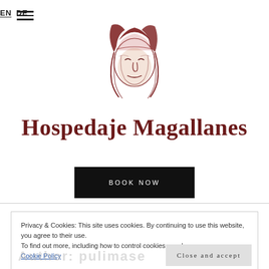EN  DE
[Figure (illustration): Dark red illustrated portrait of a Native American figure with long hair, used as a logo for Hospedaje Magallanes]
Hospedaje Magallanes
BOOK NOW
Privacy & Cookies: This site uses cookies. By continuing to use this website, you agree to their use.
To find out more, including how to control cookies, see here: Cookie Policy
Close and accept